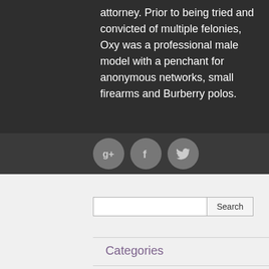attorney. Prior to being tried and convicted of multiple felonies, Oxy was a professional male model with a penchant for anonymous networks, small firearms and Burberry polos.
[Figure (other): Three circular social media icon buttons: Google+, Facebook, and Twitter, displayed on a dark grey bar.]
Search
Categories